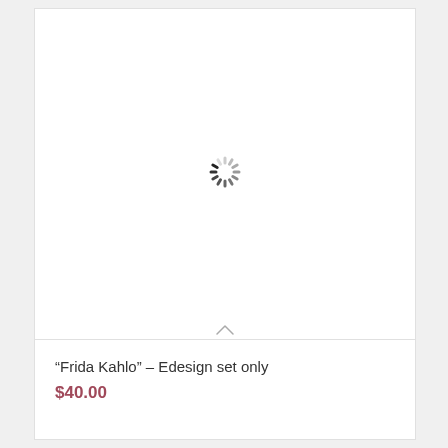[Figure (other): Loading spinner (circular progress indicator) centered in a white product image placeholder area]
“Frida Kahlo” – Edesign set only
$40.00